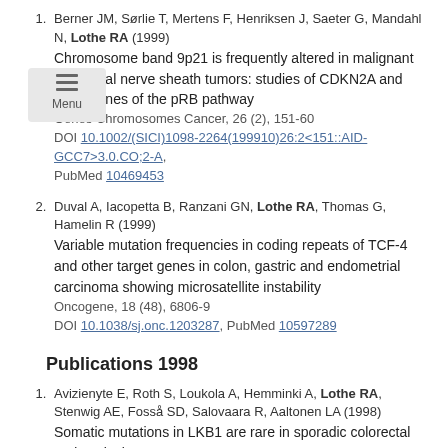Berner JM, Sørlie T, Mertens F, Henriksen J, Saeter G, Mandahl N, Lothe RA (1999) Chromosome band 9p21 is frequently altered in malignant peripheral nerve sheath tumors: studies of CDKN2A and other genes of the pRB pathway. Genes Chromosomes Cancer, 26 (2), 151-60. DOI 10.1002/(SICI)1098-2264(199910)26:2<151::AID-GCC7>3.0.CO;2-A, PubMed 10469453
Duval A, Iacopetta B, Ranzani GN, Lothe RA, Thomas G, Hamelin R (1999) Variable mutation frequencies in coding repeats of TCF-4 and other target genes in colon, gastric and endometrial carcinoma showing microsatellite instability. Oncogene, 18 (48), 6806-9. DOI 10.1038/sj.onc.1203287, PubMed 10597289
Publications 1998
Avizienyte E, Roth S, Loukola A, Hemminki A, Lothe RA, Stenwig AE, Fosså SD, Salovaara R, Aaltonen LA (1998) Somatic mutations in LKB1 are rare in sporadic colorectal and testicular tumors